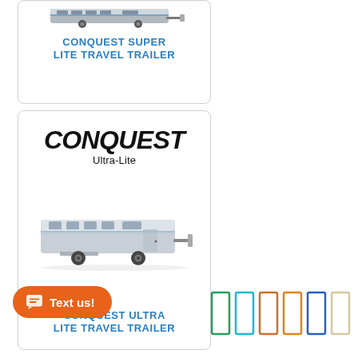[Figure (photo): Conquest Super Lite Travel Trailer product card with partial trailer image at top and blue product title text]
CONQUEST SUPER LITE TRAVEL TRAILER
[Figure (photo): Conquest Ultra-Lite Travel Trailer product card with italic Conquest logo, Ultra-Lite subtitle, and travel trailer image]
CONQUEST ULTRA LITE TRAVEL TRAILER
[Figure (other): Text us! chat button (orange pill-shaped button with chat icon)]
[Figure (other): Row of colored rectangles on right side: green, cyan, orange-brown, orange, blue, beige/light]